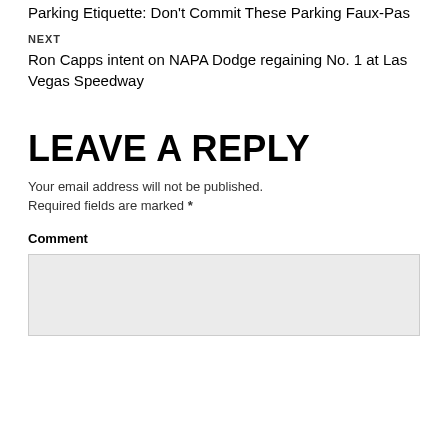Parking Etiquette: Don't Commit These Parking Faux-Pas
NEXT
Ron Capps intent on NAPA Dodge regaining No. 1 at Las Vegas Speedway
LEAVE A REPLY
Your email address will not be published.
Required fields are marked *
Comment